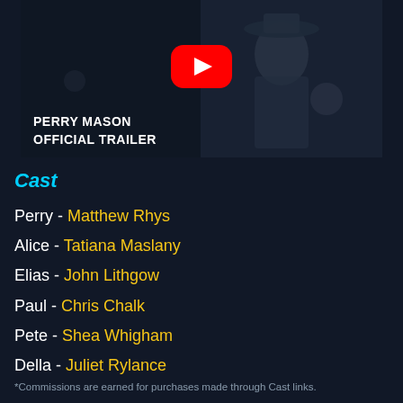[Figure (screenshot): YouTube video thumbnail for Perry Mason Official Trailer showing a man in a hat with the YouTube play button icon overlay]
Cast
Perry - Matthew Rhys
Alice - Tatiana Maslany
Elias - John Lithgow
Paul - Chris Chalk
Pete - Shea Whigham
Della - Juliet Rylance
*Commissions are earned for purchases made through Cast links.